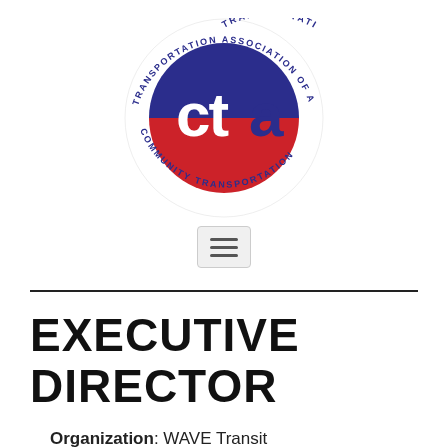[Figure (logo): CTCA Community Transportation Association of America circular logo with red and blue design featuring 'ctca' lettering in the center]
[Figure (other): Hamburger menu button icon with three horizontal lines]
EXECUTIVE DIRECTOR
Organization: WAVE Transit